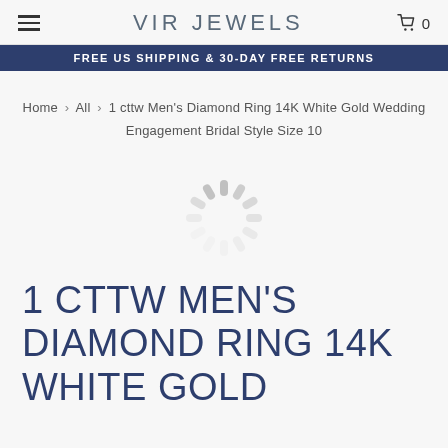VIR JEWELS
FREE US SHIPPING & 30-DAY FREE RETURNS
Home > All > 1 cttw Men's Diamond Ring 14K White Gold Wedding Engagement Bridal Style Size 10
[Figure (other): Loading spinner animation icon]
1 CTTW MEN'S DIAMOND RING 14K WHITE GOLD